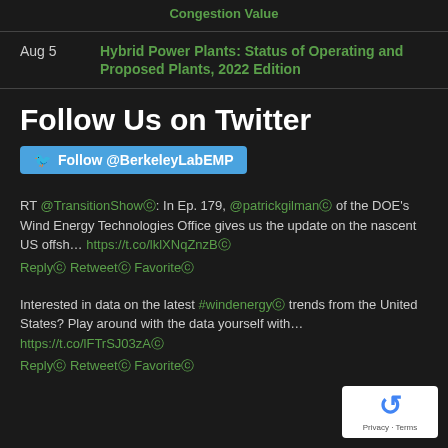Congestion Value
Aug 5 — Hybrid Power Plants: Status of Operating and Proposed Plants, 2022 Edition
Follow Us on Twitter
[Figure (other): Twitter follow button: Follow @BerkeleyLabEMP]
RT @TransitionShow: In Ep. 179, @patrickgilman of the DOE's Wind Energy Technologies Office gives us the update on the nascent US offsh... https://t.co/lklXNqZnzB
Reply Retweet Favorite
Interested in data on the latest #windenergy trends from the United States? Play around with the data yourself with... https://t.co/lFTrSJ03zA
Reply Retweet Favorite